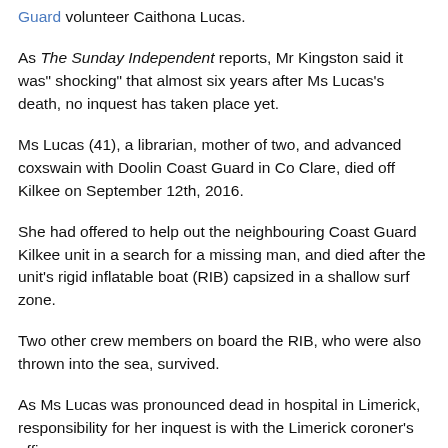Guard volunteer Caithona Lucas.
As The Sunday Independent reports, Mr Kingston said it was" shocking" that almost six years after Ms Lucas's death, no inquest has taken place yet.
Ms Lucas (41), a librarian, mother of two, and advanced coxswain with Doolin Coast Guard in Co Clare, died off Kilkee on September 12th, 2016.
She had offered to help out the neighbouring Coast Guard Kilkee unit in a search for a missing man, and died after the unit's rigid inflatable boat (RIB) capsized in a shallow surf zone.
Two other crew members on board the RIB, who were also thrown into the sea, survived.
As Ms Lucas was pronounced dead in hospital in Limerick, responsibility for her inquest is with the Limerick coroner's office.